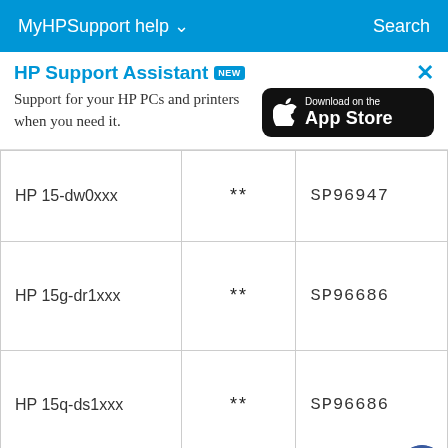MyHPSupport help ∨    Search
HP Support Assistant NEW
Support for your HP PCs and printers when you need it.
[Figure (logo): Download on the App Store badge (black rounded rectangle with Apple logo)]
| HP 15-dw0xxx | ** | SP96947 |
| HP 15g-dr1xxx | ** | SP96686 |
| HP 15q-ds1xxx | ** | SP96686 |
|  |  |  |